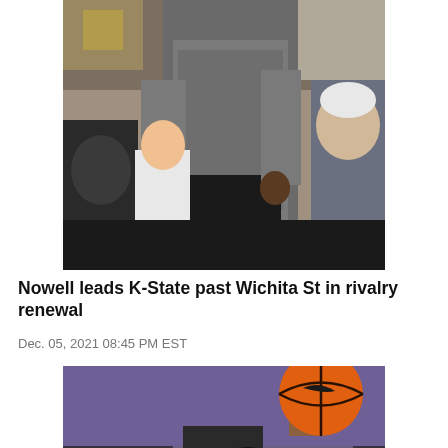[Figure (photo): A tall basketball coach in a grey long-sleeve shirt and black pants walks along the sideline during a game. Other people including fans and staff are visible in the background.]
Nowell leads K-State past Wichita St in rivalry renewal
Dec. 05, 2021 08:45 PM EST
[Figure (photo): A basketball player with curly hair shoots a basketball during a game, with another player defending close behind. An orange Nike basketball is clearly visible at the top of the frame.]